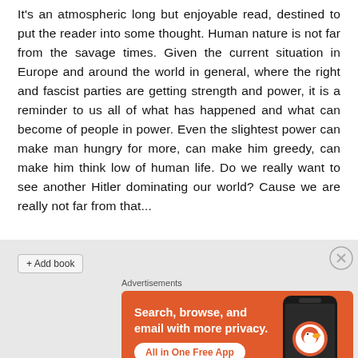It's an atmospheric long but enjoyable read, destined to put the reader into some thought. Human nature is not far from the savage times. Given the current situation in Europe and around the world in general, where the right and fascist parties are getting strength and power, it is a reminder to us all of what has happened and what can become of people in power. Even the slightest power can make man hungry for more, can make him greedy, can make him think low of human life. Do we really want to see another Hitler dominating our world? Cause we are really not far from that...
[Figure (screenshot): DuckDuckGo advertisement banner with orange background. Text reads: Search, browse, and email with more privacy. All in One Free App. Shows a phone with DuckDuckGo logo.]